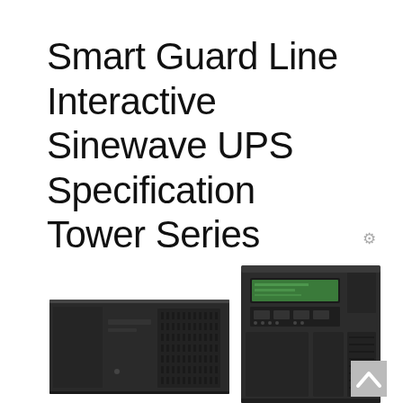Smart Guard Line Interactive Sinewave UPS Specification Tower Series
[Figure (photo): Two dark-colored UPS (Uninterruptible Power Supply) units: a smaller horizontal/flat tower unit on the left and a taller vertical tower unit on the right with a green LCD display and front panel controls.]